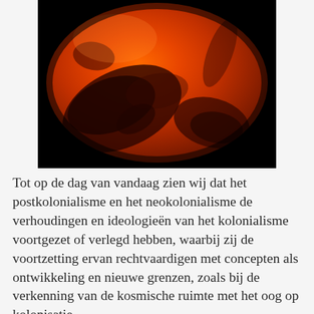[Figure (photo): Close-up photograph of Mars showing the planet's orange-red surface with dark geological features (valleys, craters) against a black background.]
Tot op de dag van vandaag zien wij dat het postkolonialisme en het neokolonialisme de verhoudingen en ideologieën van het kolonialisme voortgezet of verlegd hebben, waarbij zij de voortzetting ervan rechtvaardigen met concepten als ontwikkeling en nieuwe grenzen, zoals bij de verkenning van de kosmische ruimte met het oog op kolonisatie.